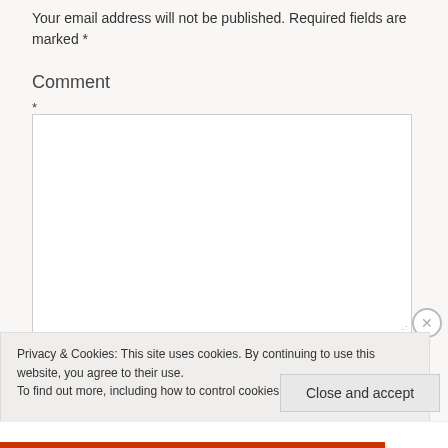Your email address will not be published. Required fields are marked *
Comment
*
[Figure (screenshot): Empty comment text area input field with resize handle in bottom-right corner]
Privacy & Cookies: This site uses cookies. By continuing to use this website, you agree to their use.
To find out more, including how to control cookies, see here: Cookie Policy
Close and accept